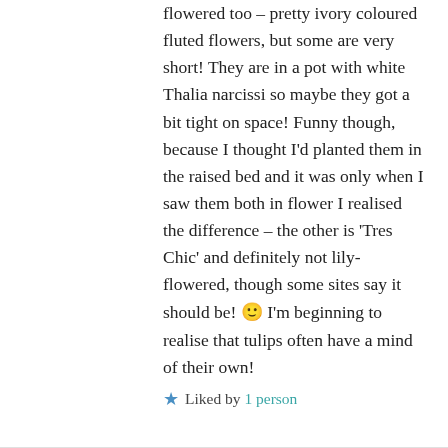flowered too – pretty ivory coloured fluted flowers, but some are very short! They are in a pot with white Thalia narcissi so maybe they got a bit tight on space! Funny though, because I thought I'd planted them in the raised bed and it was only when I saw them both in flower I realised the difference – the other is 'Tres Chic' and definitely not lily-flowered, though some sites say it should be! 🙂 I'm beginning to realise that tulips often have a mind of their own!
★ Liked by 1 person